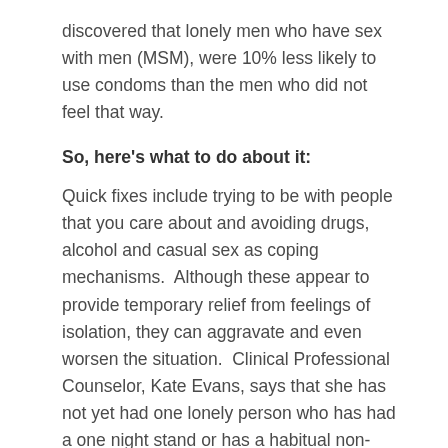discovered that lonely men who have sex with men (MSM), were 10% less likely to use condoms than the men who did not feel that way.
So, here's what to do about it:
Quick fixes include trying to be with people that you care about and avoiding drugs, alcohol and casual sex as coping mechanisms.  Although these appear to provide temporary relief from feelings of isolation, they can aggravate and even worsen the situation.  Clinical Professional Counselor, Kate Evans, says that she has not yet had one lonely person who has had a one night stand or has a habitual non-romantic sexual partner answers yes to the following question, “So did you feel better, satisfied, or happier after that sexual encounter?”[x]